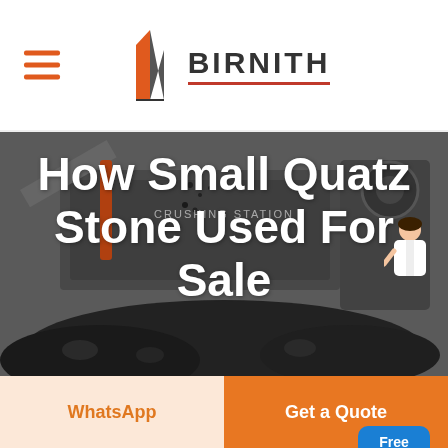[Figure (logo): Birnith logo with orange/grey building icon and brand name BIRNITH with red underline]
[Figure (photo): Industrial crushing station machinery with dark grey heavy equipment, conveyor belts, and piled crushed stone. Text overlay reads 'CRUSHING STATION'.]
How Small Quatz Stone Used For Sale
[Figure (other): Blue chat bubble button with text 'Free chat' and female avatar figure]
WhatsApp
Get a Quote